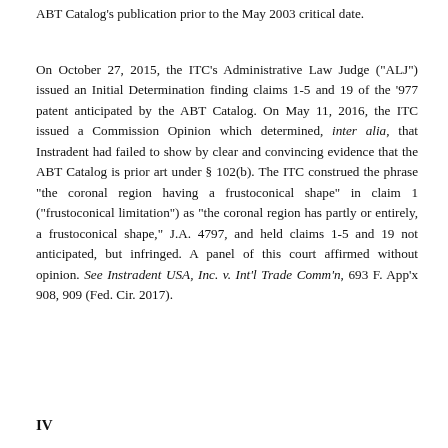ABT Catalog's publication prior to the May 2003 critical date.
On October 27, 2015, the ITC's Administrative Law Judge ("ALJ") issued an Initial Determination finding claims 1-5 and 19 of the '977 patent anticipated by the ABT Catalog. On May 11, 2016, the ITC issued a Commission Opinion which determined, inter alia, that Instradent had failed to show by clear and convincing evidence that the ABT Catalog is prior art under § 102(b). The ITC construed the phrase "the coronal region having a frustoconical shape" in claim 1 ("frustoconical limitation") as "the coronal region has partly or entirely, a frustoconical shape," J.A. 4797, and held claims 1-5 and 19 not anticipated, but infringed. A panel of this court affirmed without opinion. See Instradent USA, Inc. v. Int'l Trade Comm'n, 693 F. App'x 908, 909 (Fed. Cir. 2017).
IV